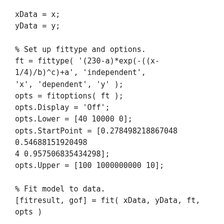xData = x;
yData = y;

% Set up fittype and options.
ft = fittype( '(230-a)*exp(-((x-1/4)/b)^c)+a', 'independent', 'x', 'dependent', 'y' );
opts = fitoptions( ft );
opts.Display = 'Off';
opts.Lower = [40 10000 0];
opts.StartPoint = [0.278498218867048 0.546881519204984 0.957506835434298];
opts.Upper = [100 1000000000 10];

% Fit model to data.
[fitresult, gof] = fit( xData, yData, ft, opts )

% Plot fit with data.
figure( 'Name', '前期 ' );
h = plot( fitresult, xData, yData , '* ');